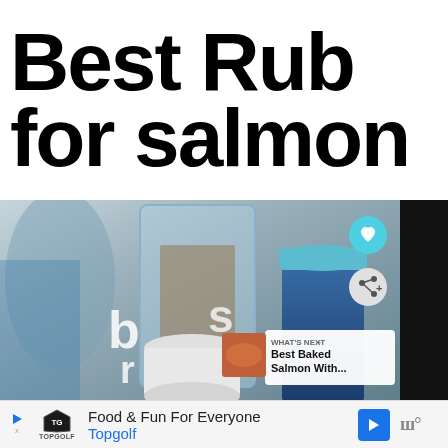Best Rub for salmon
[Figure (photo): Photo of spice jars and containers on a kitchen counter, with letters 'b', 'r', 'o', 's' visible on a large clear container, a white jar, and a dark blue jar with teal lid. Interface overlay shows heart and share buttons, and a 'What's Next' card for 'Best Baked Salmon With...']
WHAT'S NEXT → Best Baked Salmon With...
[Figure (logo): Topgolf advertisement bar with shield logo, text 'Food & Fun For Everyone' and 'Topgolf', blue navigation arrow button, and MW logo]